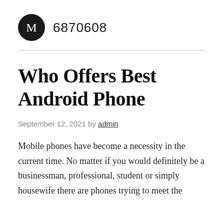M  6870608
Who Offers Best Android Phone
September 12, 2021 by admin
Mobile phones have become a necessity in the current time. No matter if you would definitely be a businessman, professional, student or simply housewife there are phones trying to meet the